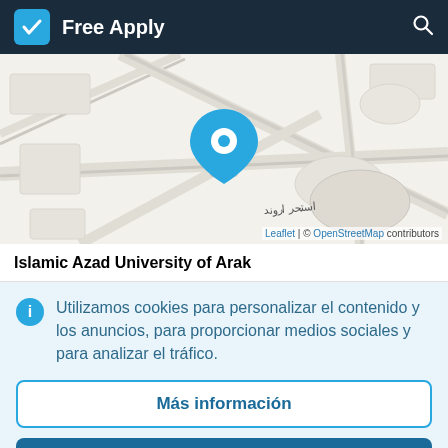Free Apply
[Figure (map): Street map showing location of Islamic Azad University of Arak with a blue map pin marker in the center. Arabic/Persian text label visible. Map attribution: Leaflet | © OpenStreetMap contributors]
Islamic Azad University of Arak
Utilizamos cookies para personalizar el contenido y los anuncios, para proporcionar medios sociales y para analizar el tráfico.
Más información
Aceptar